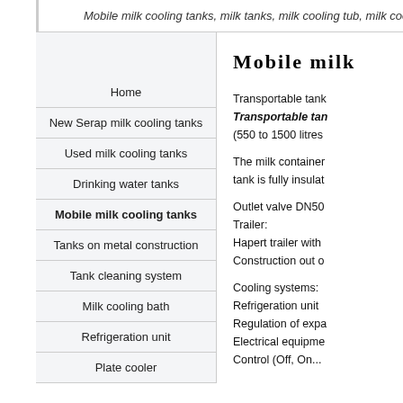Mobile milk cooling tanks, milk tanks, milk cooling tub, milk coo
Home
New Serap milk cooling tanks
Used milk cooling tanks
Drinking water tanks
Mobile milk cooling tanks
Tanks on metal construction
Tank cleaning system
Milk cooling bath
Refrigeration unit
Plate cooler
Mobile milk
Transportable tank Transportable tan (550 to 1500 litres
The milk container tank is fully insulat
Outlet valve DN50
Trailer:
Hapert trailer with
Construction out o
Cooling systems:
Refrigeration unit
Regulation of expa
Electrical equipme
Control (Off, On...